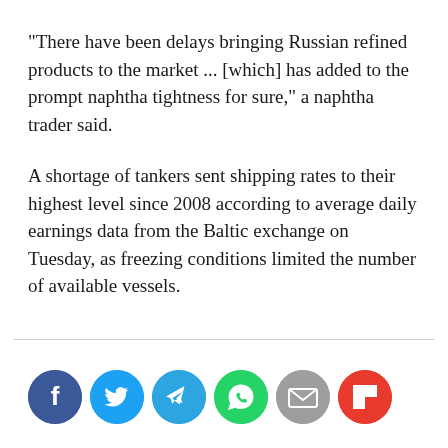"There have been delays bringing Russian refined products to the market ... [which] has added to the prompt naphtha tightness for sure," a naphtha trader said.
A shortage of tankers sent shipping rates to their highest level since 2008 according to average daily earnings data from the Baltic exchange on Tuesday, as freezing conditions limited the number of available vessels.
[Figure (infographic): Social media sharing icons row: Facebook (blue), Twitter (light blue), Telegram (blue), WhatsApp (green), Email (grey), Flipboard (red)]